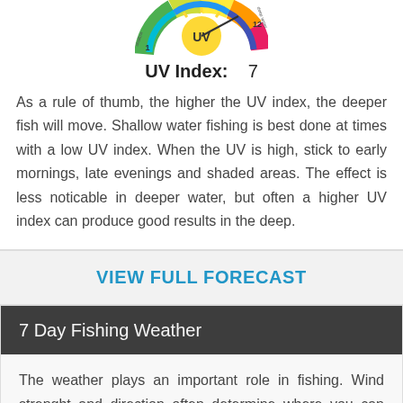[Figure (infographic): UV Index dial/wheel showing UV level indicator with colorful segments and sun icon]
UV Index:    7
As a rule of thumb, the higher the UV index, the deeper fish will move. Shallow water fishing is best done at times with a low UV index. When the UV is high, stick to early mornings, late evenings and shaded areas. The effect is less noticable in deeper water, but often a higher UV index can produce good results in the deep.
VIEW FULL FORECAST
7 Day Fishing Weather
The weather plays an important role in fishing. Wind strenght and direction often determine where you can fish and where fish might be holding. Although high pressure is usually good for fishing, steep pressure changes often trigger feeding